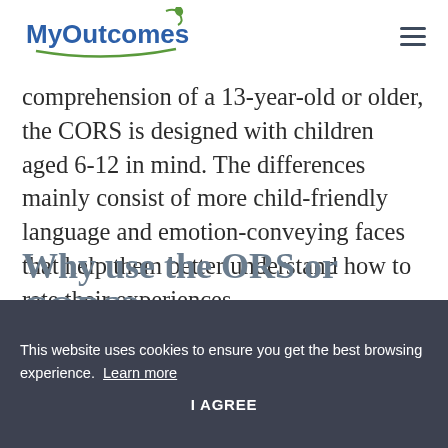MyOutcomes [logo] [hamburger menu]
comprehension of a 13-year-old or older, the CORS is designed with children aged 6-12 in mind. The differences mainly consist of more child-friendly language and emotion-conveying faces that help them better understand how to rate their experiences.
Why use the ORS or CORS?
This website uses cookies to ensure you get the best browsing experience.  Learn more
I AGREE